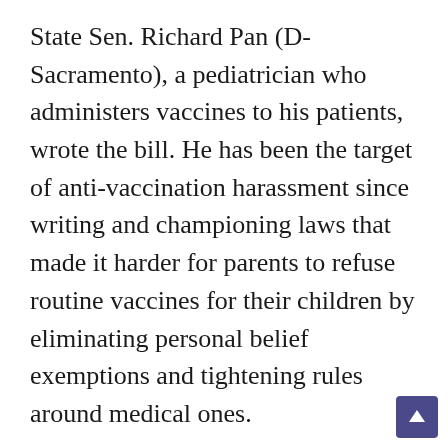State Sen. Richard Pan (D-Sacramento), a pediatrician who administers vaccines to his patients, wrote the bill. He has been the target of anti-vaccination harassment since writing and championing laws that made it harder for parents to refuse routine vaccines for their children by eliminating personal belief exemptions and tightening rules around medical ones.

He was shoved by someone who opposed the medical exemption bill in 2019, the same year in which an anti-vaccine protester threw menstrual blood onto the state Senate floor.